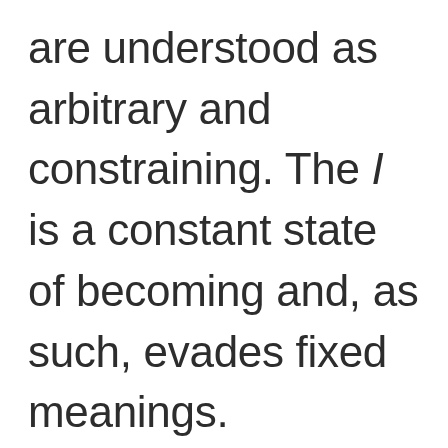are understood as arbitrary and constraining. The I is a constant state of becoming and, as such, evades fixed meanings.